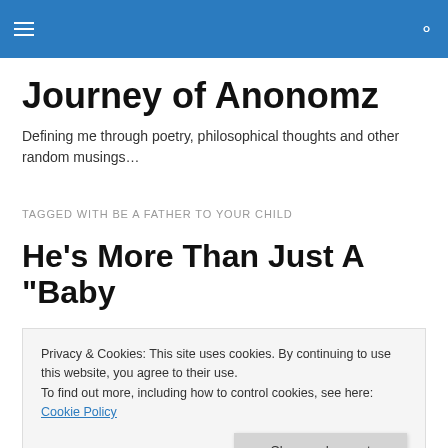Journey of Anonomz — navigation bar
Journey of Anonomz
Defining me through poetry, philosophical thoughts and other random musings…
TAGGED WITH BE A FATHER TO YOUR CHILD
He’s More Than Just A “Baby
Privacy & Cookies: This site uses cookies. By continuing to use this website, you agree to their use.
To find out more, including how to control cookies, see here: Cookie Policy
Mother’s Day!  Father’s Day is comparable to the boy